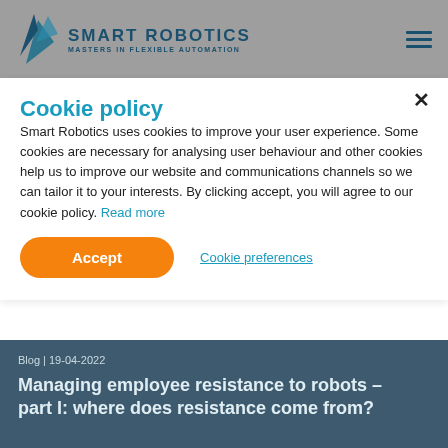SMART ROBOTICS | MASTERS IN FLEXIBLE AUTOMATION
Cookie policy
Smart Robotics uses cookies to improve your user experience. Some cookies are necessary for analysing user behaviour and other cookies help us to improve our website and communications channels so we can tailor it to your interests. By clicking accept, you will agree to our cookie policy. Read more
Accept
Cookie preferences
Blog | 19-04-2022
Managing employee resistance to robots – part I: where does resistance come from?